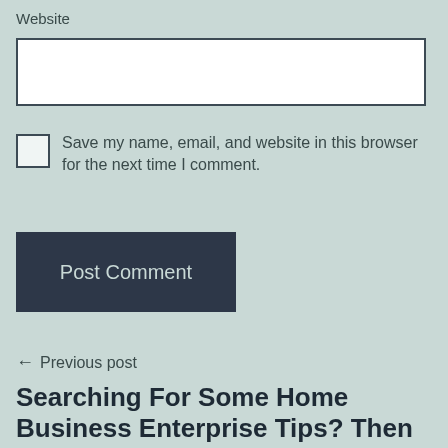Website
Save my name, email, and website in this browser for the next time I comment.
Post Comment
← Previous post
Searching For Some Home Business Enterprise Tips? Then